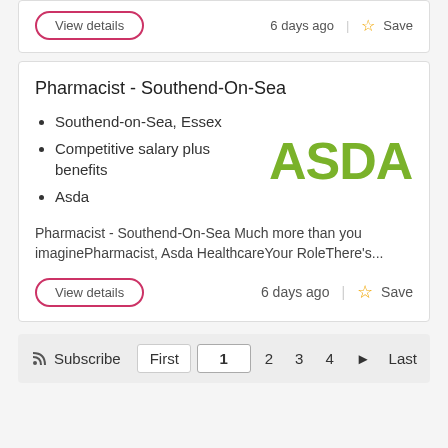View details | 6 days ago | Save
Pharmacist - Southend-On-Sea
Southend-on-Sea, Essex
Competitive salary plus benefits
Asda
[Figure (logo): ASDA logo in green bold text]
Pharmacist - Southend-On-Sea Much more than you imaginePharmacist, Asda HealthcareYour RoleThere's...
View details | 6 days ago | Save
Subscribe | First | 1 | 2 | 3 | 4 | ► | Last